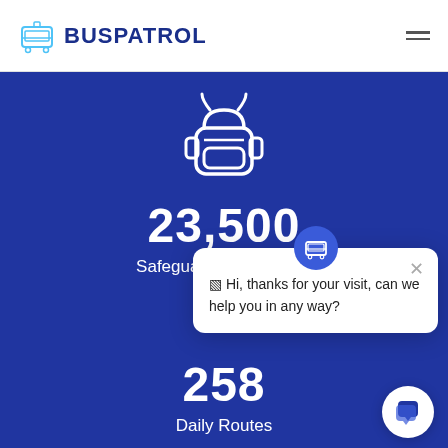BUSPATROL
[Figure (illustration): White outline icon of a school backpack on dark blue background]
23,500
Safeguarded Each Day
[Figure (screenshot): Chat popup widget with bus icon, close button, and message: Hi, thanks for your visit, can we help you in any way?]
258
Daily Routes